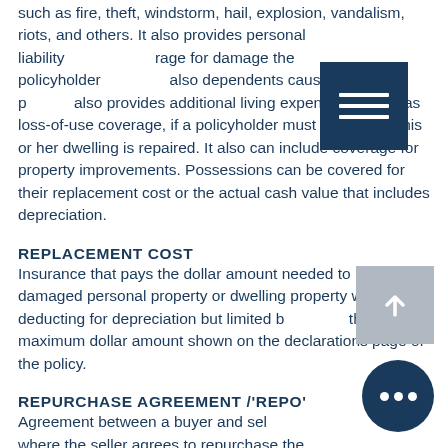such as fire, theft, windstorm, hail, explosion, vandalism, riots, and others. It also provides personal liability coverage for damage the policyholder or dependents cause to third parties. It also provides additional living expenses, known as loss-of-use coverage, if a policyholder must move while his or her dwelling is repaired. It also can include coverage for property improvements. Possessions can be covered for their replacement cost or the actual cash value that includes depreciation.
REPLACEMENT COST
Insurance that pays the dollar amount needed to replace damaged personal property or dwelling property without deducting for depreciation but limited by the maximum dollar amount shown on the declarations page of the policy.
REPURCHASE AGREEMENT /'REPO'
Agreement between a buyer and seller where the seller agrees to repurchase the